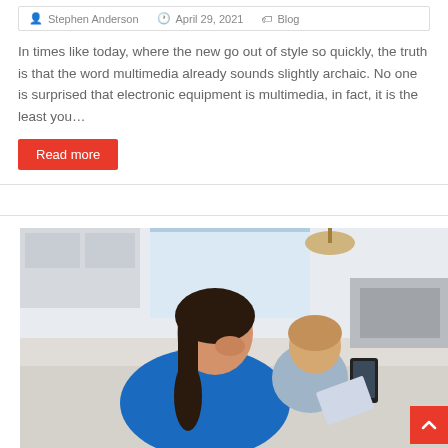Stephen Anderson  April 29, 2021  Blog
In times like today, where the new go out of style so quickly, the truth is that the word multimedia already sounds slightly archaic. No one is surprised that electronic equipment is multimedia, in fact, it is the least you…
Read more
[Figure (photo): A woman with dark hair wearing a blue shirt holds a small toddler on her lap. Both are looking at a smartphone being held in the woman's hand. They are seated at a kitchen counter in a bright, modern white kitchen. The child has light brown hair. The woman appears to be smiling.]